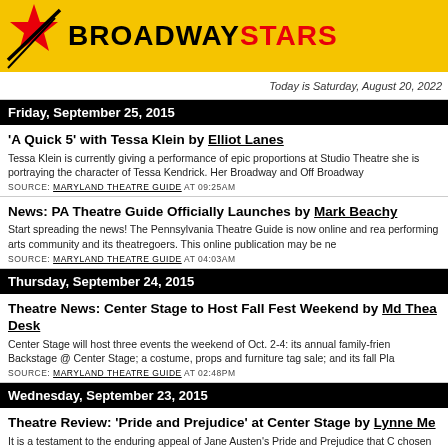BROADWAYSTARS
Today is Saturday, August 20, 2022
Friday, September 25, 2015
'A Quick 5' with Tessa Klein by Elliot Lanes
Tessa Klein is currently giving a performance of epic proportions at Studio Theatre she is portraying the character of Tessa Kendrick. Her Broadway and Off Broadway
SOURCE: MARYLAND THEATRE GUIDE AT 09:25AM
News: PA Theatre Guide Officially Launches by Mark Beachy
Start spreading the news! The Pennsylvania Theatre Guide is now online and read performing arts community and its theatregoers. This online publication may be ne
SOURCE: MARYLAND THEATRE GUIDE AT 04:03AM
Thursday, September 24, 2015
Theatre News: Center Stage to Host Fall Fest Weekend by Md Thea Desk
Center Stage will host three events the weekend of Oct. 2-4: its annual family-frien Backstage @ Center Stage; a costume, props and furniture tag sale; and its fall Pla
SOURCE: MARYLAND THEATRE GUIDE AT 02:48PM
Wednesday, September 23, 2015
Theatre Review: 'Pride and Prejudice' at Center Stage by Lynne Me
It is a testament to the enduring appeal of Jane Austen's Pride and Prejudice that C chosen to open it's 53rd season with the world premier of a new theatrical version